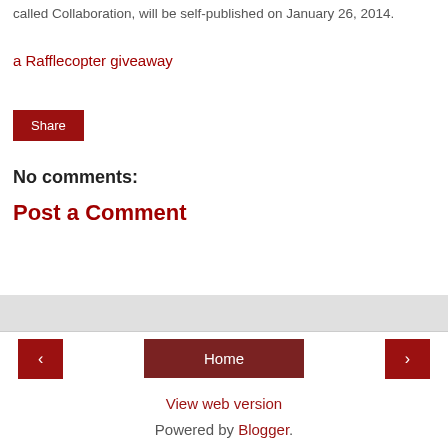called Collaboration, will be self-published on January 26, 2014.
a Rafflecopter giveaway
Share
No comments:
Post a Comment
< Home > View web version Powered by Blogger.